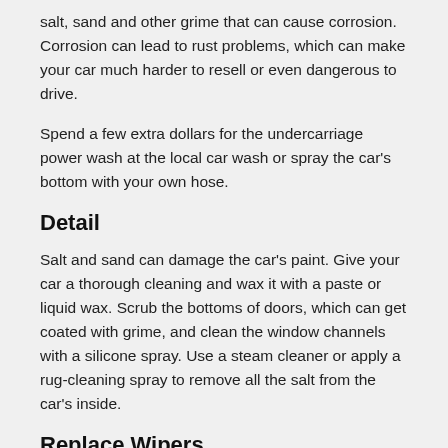salt, sand and other grime that can cause corrosion. Corrosion can lead to rust problems, which can make your car much harder to resell or even dangerous to drive.
Spend a few extra dollars for the undercarriage power wash at the local car wash or spray the car's bottom with your own hose.
Detail
Salt and sand can damage the car's paint. Give your car a thorough cleaning and wax it with a paste or liquid wax. Scrub the bottoms of doors, which can get coated with grime, and clean the window channels with a silicone spray. Use a steam cleaner or apply a rug-cleaning spray to remove all the salt from the car's inside.
Replace Wipers
Wiper blades get a workout during the winter months. To